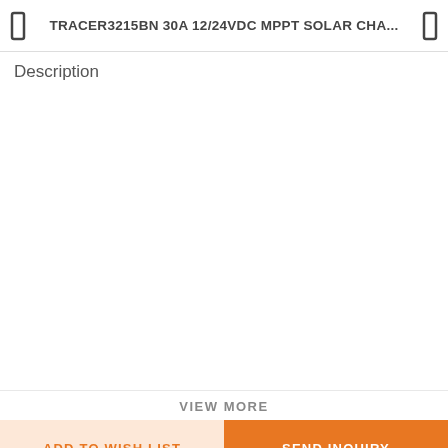TRACER3215BN 30A 12/24VDC MPPT SOLAR CHA...
Description
VIEW MORE
ADD TO WISH LIST
SEND INQUIRY